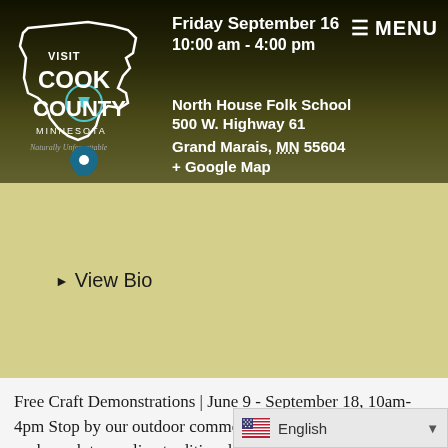Friday September 16
10:00 am - 4:00 pm
North House Folk School
500 W. Highway 61
Grand Marais, MN 55604
+ Google Map
[Figure (logo): Visit Cook County Minnesota logo — white outline of state with cycle icon]
▶ View Bio
Free Craft Demonstrations | June 9 - September 18, 10am-4pm Stop by our outdoor commons in the center of campus each week to see live traditional craft demonstrations with our talented artisan instructors. Each week a different instructor will be featured, and visitors will have the opportunity to observe their hands at work as well as ask questions about the craft. Schedule of Demon